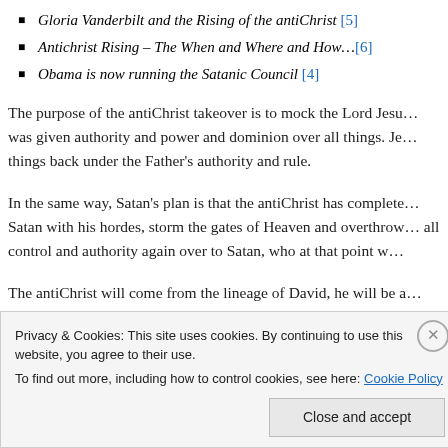Gloria Vanderbilt and the Rising of the antiChrist [5]
Antichrist Rising – The When and Where and How…[6]
Obama is now running the Satanic Council [4]
The purpose of the antiChrist takeover is to mock the Lord Jesu… was given authority and power and dominion over all things. Je… things back under the Father's authority and rule.
In the same way, Satan's plan is that the antiChrist has complete… Satan with his hordes, storm the gates of Heaven and overthrow… all control and authority again over to Satan, who at that point w…
The antiChrist will come from the lineage of David, he will be a… miracles. He will proclaim to be the true Messiah and lead Israe…
Privacy & Cookies: This site uses cookies. By continuing to use this website, you agree to their use.
To find out more, including how to control cookies, see here: Cookie Policy
Close and accept